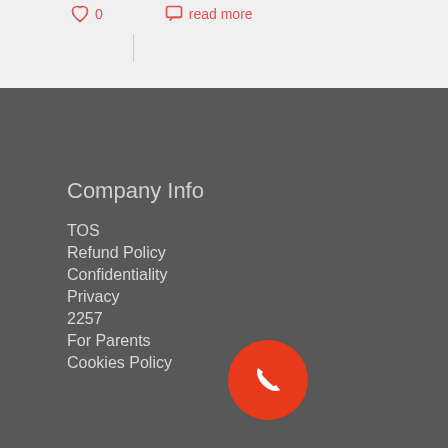[Figure (screenshot): Top bar with heart icon showing 0 and a read more link in red on a light grey background]
Company Info
TOS
Refund Policy
Confidentiality
Privacy
2257
For Parents
Cookies Policy
Support
FAQ's
Chargebacks
Contact Us
[Figure (illustration): Red circular button with white phone/call icon]